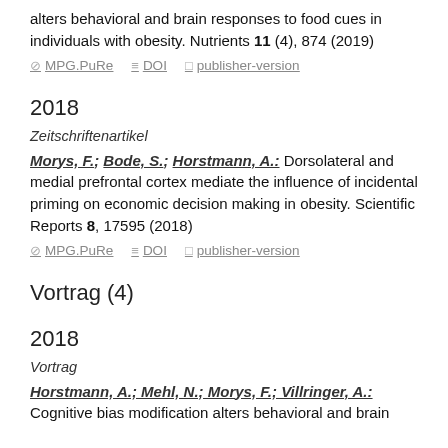alters behavioral and brain responses to food cues in individuals with obesity. Nutrients 11 (4), 874 (2019)
MPG.PuRe  DOI  publisher-version
2018
Zeitschriftenartikel
Morys, F.; Bode, S.; Horstmann, A.: Dorsolateral and medial prefrontal cortex mediate the influence of incidental priming on economic decision making in obesity. Scientific Reports 8, 17595 (2018)
MPG.PuRe  DOI  publisher-version
Vortrag (4)
2018
Vortrag
Horstmann, A.; Mehl, N.; Morys, F.; Villringer, A.: Cognitive bias modification alters behavioral and brain